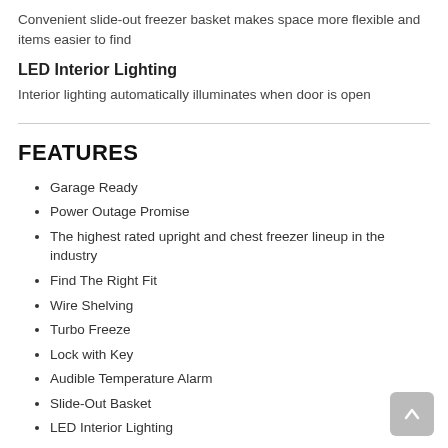Convenient slide-out freezer basket makes space more flexible and items easier to find
LED Interior Lighting
Interior lighting automatically illuminates when door is open
FEATURES
Garage Ready
Power Outage Promise
The highest rated upright and chest freezer lineup in the industry
Find The Right Fit
Wire Shelving
Turbo Freeze
Lock with Key
Audible Temperature Alarm
Slide-Out Basket
LED Interior Lighting